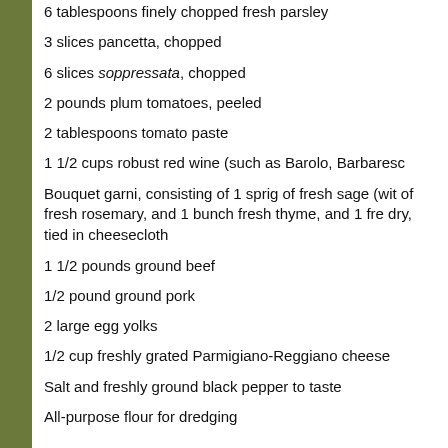6 tablespoons finely chopped fresh parsley
3 slices pancetta, chopped
6 slices soppressata, chopped
2 pounds plum tomatoes, peeled
2 tablespoons tomato paste
1 1/2 cups robust red wine (such as Barolo, Barbaresco
Bouquet garni, consisting of 1 sprig of fresh sage (with of fresh rosemary, and 1 bunch fresh thyme, and 1 fre dry, tied in cheesecloth
1 1/2 pounds ground beef
1/2 pound ground pork
2 large egg yolks
1/2 cup freshly grated Parmigiano-Reggiano cheese
Salt and freshly ground black pepper to taste
All-purpose flour for dredging